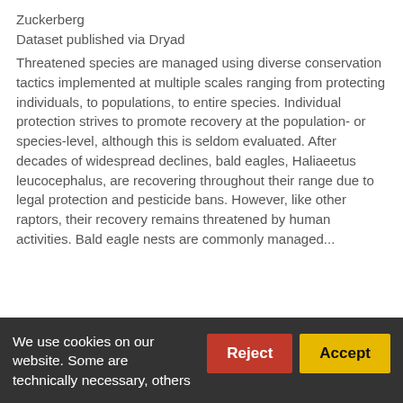Zuckerberg
Dataset published via Dryad
Threatened species are managed using diverse conservation tactics implemented at multiple scales ranging from protecting individuals, to populations, to entire species. Individual protection strives to promote recovery at the population- or species-level, although this is seldom evaluated. After decades of widespread declines, bald eagles, Haliaeetus leucocephalus, are recovering throughout their range due to legal protection and pesticide bans. However, like other raptors, their recovery remains threatened by human activities. Bald eagle nests are commonly managed...
1 citation   136 views   39 downloads
https://doi.org/10.5061/dryad.8ff85   Cite
We use cookies on our website. Some are technically necessary, others